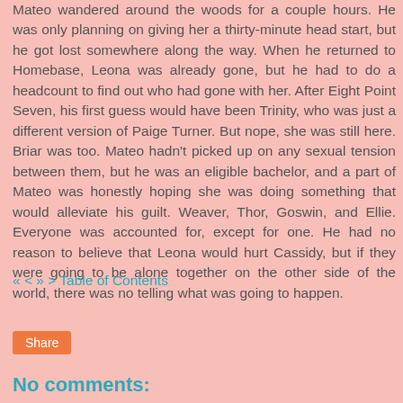Mateo wandered around the woods for a couple hours. He was only planning on giving her a thirty-minute head start, but he got lost somewhere along the way. When he returned to Homebase, Leona was already gone, but he had to do a headcount to find out who had gone with her. After Eight Point Seven, his first guess would have been Trinity, who was just a different version of Paige Turner. But nope, she was still here. Briar was too. Mateo hadn't picked up on any sexual tension between them, but he was an eligible bachelor, and a part of Mateo was honestly hoping she was doing something that would alleviate his guilt. Weaver, Thor, Goswin, and Ellie. Everyone was accounted for, except for one. He had no reason to believe that Leona would hurt Cassidy, but if they were going to be alone together on the other side of the world, there was no telling what was going to happen.
« < » > Table of Contents
Share
No comments: